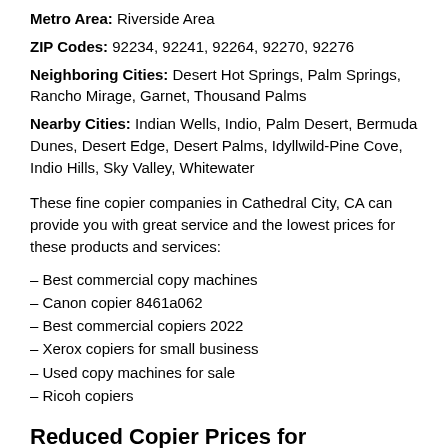Metro Area: Riverside Area
ZIP Codes: 92234, 92241, 92264, 92270, 92276
Neighboring Cities: Desert Hot Springs, Palm Springs, Rancho Mirage, Garnet, Thousand Palms
Nearby Cities: Indian Wells, Indio, Palm Desert, Bermuda Dunes, Desert Edge, Desert Palms, Idyllwild-Pine Cove, Indio Hills, Sky Valley, Whitewater
These fine copier companies in Cathedral City, CA can provide you with great service and the lowest prices for these products and services:
– Best commercial copy machines
– Canon copier 8461a062
– Best commercial copiers 2022
– Xerox copiers for small business
– Used copy machines for sale
– Ricoh copiers
Reduced Copier Prices for